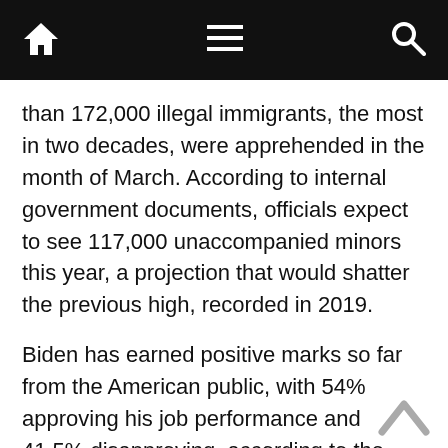[Navigation bar with home, menu, and search icons]
than 172,000 illegal immigrants, the most in two decades, were apprehended in the month of March. According to internal government documents, officials expect to see 117,000 unaccompanied minors this year, a projection that would shatter the previous high, recorded in 2019.
Biden has earned positive marks so far from the American public, with 54% approving his job performance and 41.5% disapproving, according to the RealClearPolitics polling average. But a recent survey by Quinnipiac University shows significant dissatisfaction on the border question. Only 29% of Americans approve of how the president is handling the migrant crisis while 55% gave him a failing grade on the issue.